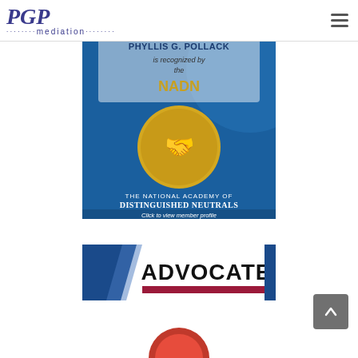PGP Mediation
[Figure (logo): PGP Mediation logo with blue italic PGP letters and dotted mediation text]
[Figure (screenshot): National Academy of Distinguished Neutralals badge - blue background with gold medallion showing handshake, text: THE NATIONAL ACADEMY OF DISTINGUISHED NEUTRALS, Click to view member profile. Overlaid text: PHYLLIS G. POLLACK is recognized by the NADN]
[Figure (screenshot): Advocate magazine logo badge - blue diagonal stripe with ADVOCATE text in black bold letters and red horizontal bar]
[Figure (screenshot): Partial view of a circular badge/logo at bottom of page]